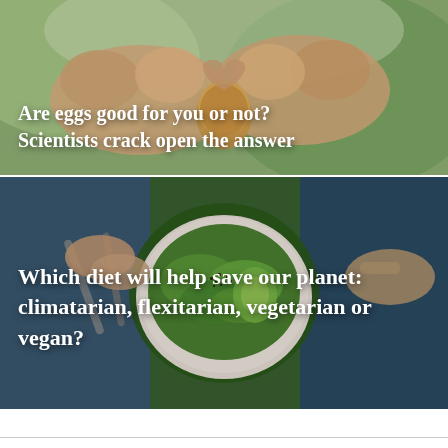[Figure (photo): Close-up photo of hands forming a heart shape around a brown egg, with blurred green background. White bold text overlay reads: 'Are eggs good for you or not? Scientists crack open the answer']
[Figure (photo): Overhead photo of a person eating a green salad bowl with leafy greens, avocado and seeds, wearing denim. White bold text overlay reads: 'Which diet will help save our planet: climatarian, flexitarian, vegetarian or vegan?']